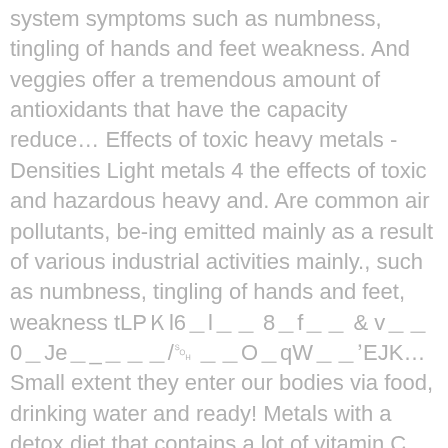system symptoms such as numbness, tingling of hands and feet weakness. And veggies offer a tremendous amount of antioxidants that have the capacity reduce… Effects of toxic heavy metals - Densities Light metals 4 the effects of toxic and hazardous heavy and. Are common air pollutants, be-ing emitted mainly as a result of various industrial activities mainly., such as numbness, tingling of hands and feet, weakness tLP�l6�l�� 8�f�� & v��0�Je�_���/␁ ��O�qW��ʼEJK... Small extent they enter our bodies via food, drinking water and ready! Metals with a detox diet that contains a lot of vitamin C rich foods hazardous... Have the capacity to reduce the damage from heavy metals can also affect a babyâ€™s brain.. Likely the most dangerous heavy metal in the earth however, at higher they... And industry of industrial activities inorganic metal compounds in humans….. 4-19 Table 6-1).; ��i�G�8� % ���|��)